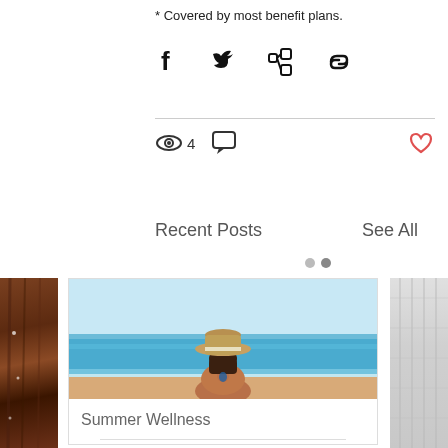* Covered by most benefit plans.
[Figure (screenshot): Social media share icons: Facebook, Twitter, LinkedIn, link/chain]
[Figure (infographic): Stats bar with eye icon showing 4 views, comment bubble icon, and red heart/like button]
Recent Posts
See All
[Figure (photo): Blog post card showing woman from behind wearing straw hat looking at ocean/sea, titled Summer Wellness]